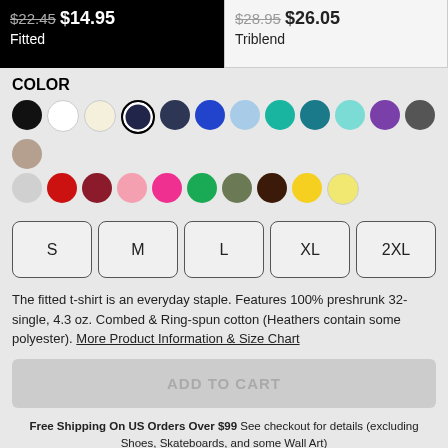$22.45 $14.95 Fitted
$28.95 $26.05 Triblend
COLOR
[Figure (illustration): Color swatches: black, white, cream, navy (selected), dark navy, royal blue, light blue, teal, dark teal, light teal, purple, dark gray, tan/khaki (row1); light gray, red, dark red/maroon, pink, hot pink, green, olive, dark brown, yellow, light yellow (row2)]
S M L XL 2XL
The fitted t-shirt is an everyday staple. Features 100% preshrunk 32-single, 4.3 oz. Combed & Ring-spun cotton (Heathers contain some polyester). More Product Information & Size Chart
ADD TO CART
Free Shipping On US Orders Over $99 See checkout for details (excluding Shoes, Skateboards, and some Wall Art)